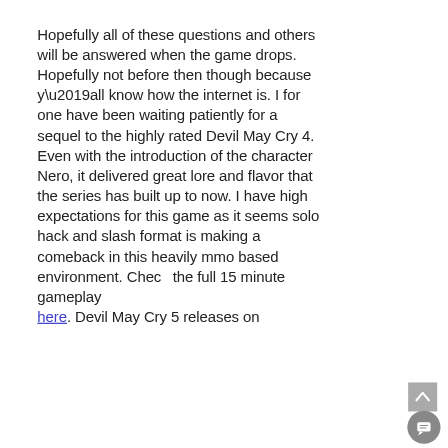Hopefully all of these questions and others will be answered when the game drops. Hopefully not before then though because y’all know how the internet is. I for one have been waiting patiently for a sequel to the highly rated Devil May Cry 4. Even with the introduction of the character Nero, it delivered great lore and flavor that the series has built up to now. I have high expectations for this game as it seems solo hack and slash format is making a comeback in this heavily mmo based environment. Check the full 15 minute gameplay here. Devil May Cry 5 releases on